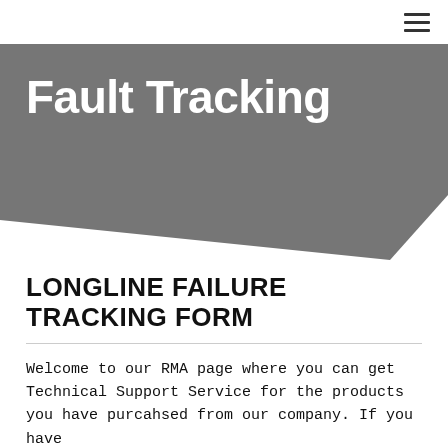☰
Fault Tracking
LONGLINE FAILURE TRACKING FORM
Welcome to our RMA page where you can get Technical Support Service for the products you have purcahsed from our company. If you have